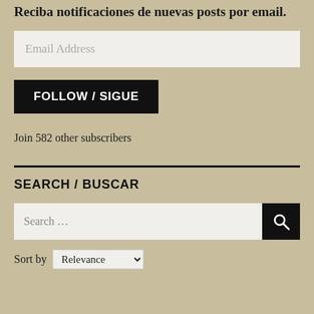Reciba notificaciones de nuevas posts por email.
[Figure (screenshot): Email address input field with placeholder text 'Email Address']
[Figure (screenshot): Black button labeled 'FOLLOW / SIGUE']
Join 582 other subscribers
SEARCH / BUSCAR
[Figure (screenshot): Search input field with placeholder 'Search ...' and black search icon button]
Sort by Relevance